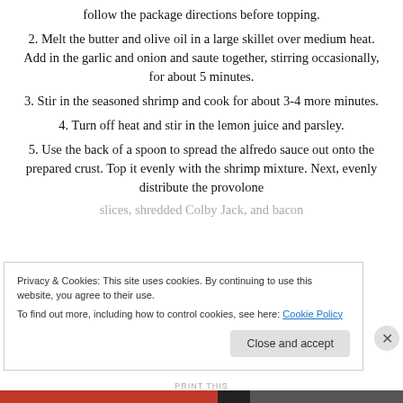follow the package directions before topping.
2. Melt the butter and olive oil in a large skillet over medium heat. Add in the garlic and onion and saute together, stirring occasionally, for about 5 minutes.
3. Stir in the seasoned shrimp and cook for about 3-4 more minutes.
4. Turn off heat and stir in the lemon juice and parsley.
5. Use the back of a spoon to spread the alfredo sauce out onto the prepared crust. Top it evenly with the shrimp mixture. Next, evenly distribute the provolone slices, shredded Colby Jack, and bacon
Privacy & Cookies: This site uses cookies. By continuing to use this website, you agree to their use. To find out more, including how to control cookies, see here: Cookie Policy
Close and accept